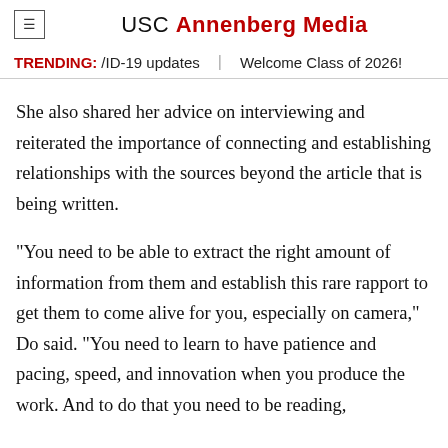USC Annenberg Media
TRENDING: /ID-19 updates | Welcome Class of 2026!
She also shared her advice on interviewing and reiterated the importance of connecting and establishing relationships with the sources beyond the article that is being written.
“You need to be able to extract the right amount of information from them and establish this rare rapport to get them to come alive for you, especially on camera,” Do said. “You need to learn to have patience and pacing, speed, and innovation when you produce the work. And to do that you need to be reading,